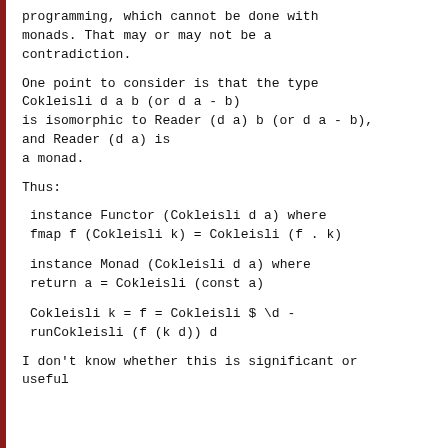programming, which cannot be done with
monads. That may or may not be a
contradiction.
One point to consider is that the type
Cokleisli d a b (or d a - b)
is isomorphic to Reader (d a) b (or d a - b),
and Reader (d a) is
a monad.
Thus:
I don't know whether this is significant or
useful